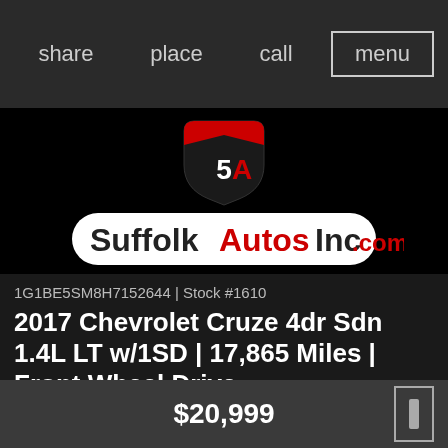share   place   call   menu
[Figure (logo): SuffolkAutosInc.com logo with shield emblem showing '5A' in red and black on white pill-shaped background]
1G1BE5SM8H7152644 | Stock #1610
2017 Chevrolet Cruze 4dr Sdn 1.4L LT w/1SD | 17,865 Miles | Front Wheel Drive
Red Hot Exterior with Dark Atmosphere/Medi Cloth Interior  |  1.4 4 Cylinder Engine  | Automatic Transmission
$20,999